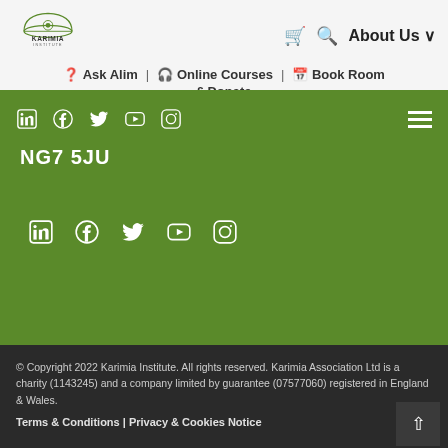[Figure (logo): Karimia Institute logo with dome/mosque graphic and text]
Ask Alim | Online Courses | Book Room £ Donate
NG7 5JU
© Copyright 2022 Karimia Institute. All rights reserved. Karimia Association Ltd is a charity (1143245) and a company limited by guarantee (07577060) registered in England & Wales.
Terms & Conditions | Privacy & Cookies Notice